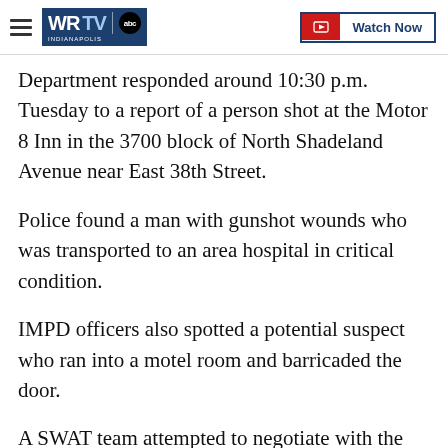WRTV Indianapolis | Watch Now
Department responded around 10:30 p.m. Tuesday to a report of a person shot at the Motor 8 Inn in the 3700 block of North Shadeland Avenue near East 38th Street.
Police found a man with gunshot wounds who was transported to an area hospital in critical condition.
IMPD officers also spotted a potential suspect who ran into a motel room and barricaded the door.
A SWAT team attempted to negotiate with the man and later used non-lethal flashes to get him out.